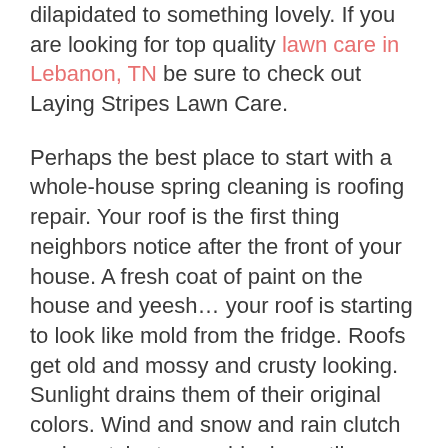dilapidated to something lovely. If you are looking for top quality lawn care in Lebanon, TN be sure to check out Laying Stripes Lawn Care.

Perhaps the best place to start with a whole-house spring cleaning is roofing repair. Your roof is the first thing neighbors notice after the front of your house. A fresh coat of paint on the house and yeesh… your roof is starting to look like mold from the fridge. Roofs get old and mossy and crusty looking. Sunlight drains them of their original colors. Wind and snow and rain clutch and snatch at your shingles until suddenly, your roof is in need of repair. Whether it's repair or an entire